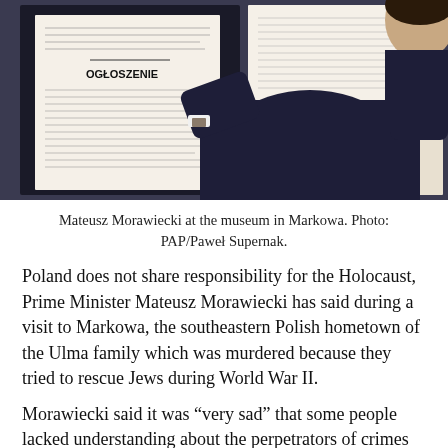[Figure (photo): A man in a dark suit (seen from behind) examining exhibit panels at a museum. One panel visible shows 'OGŁOSZENIE' (announcement) in Polish. The man wears a watch on his left wrist.]
Mateusz Morawiecki at the museum in Markowa. Photo: PAP/Paweł Supernak.
Poland does not share responsibility for the Holocaust, Prime Minister Mateusz Morawiecki has said during a visit to Markowa, the southeastern Polish hometown of the Ulma family which was murdered because they tried to rescue Jews during World War II.
Morawiecki said it was “very sad” that some people lacked understanding about the perpetrators of crimes during World War II, adding: “On the other hand, it is extremely important